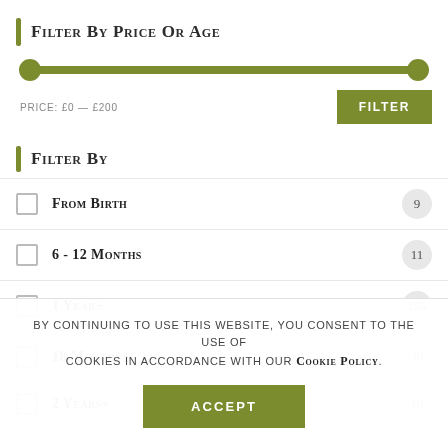Filter By Price Or Age
[Figure (other): Price range slider from £0 to £200 with two green circular handles at each end and a green filled track.]
PRICE: £0 — £200
Filter By
From Birth — 9
6 - 12 Months — 11
1 Year+ — 155
18 Months+ — 30
2 Years+ — 10
By continuing to use this website, you consent to the use of cookies in accordance with our Cookie Policy.
Accept